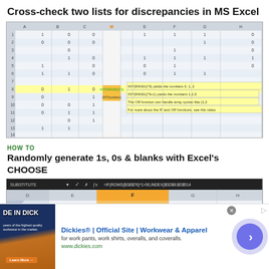Cross-check two lists for discrepancies in MS Excel
[Figure (screenshot): Screenshot of Microsoft Excel spreadsheet showing a grid with numbers 0 and 1 in columns A through H, rows 1-14. Row 8 is highlighted yellow and shows formula =INT(RAND()*2). Tooltips visible: 'INT(RAND()*3) yields the numbers 0, 1, 2', 'INT(RAND()*3+1) yields the numbers 1,2,3', 'The OR function can handle array syntax like {1,2', 'For more about the IF and OR functions, see this video']
HOW TO
Randomly generate 1s, 0s & blanks with Excel's CHOOSE
[Figure (screenshot): Screenshot of Microsoft Excel spreadsheet showing columns D, E, F (highlighted orange), G, H with formula bar showing =IF(ROWS($SB$76)*1>50,INDEX($SD$6:$D$514...]
[Figure (advertisement): Advertisement for Dickies workwear: 'Dickies® | Official Site | Workwear & Apparel - for work pants, work shirts, overalls, and coveralls. www.dickies.com' with orange/blue background image and circular arrow button]